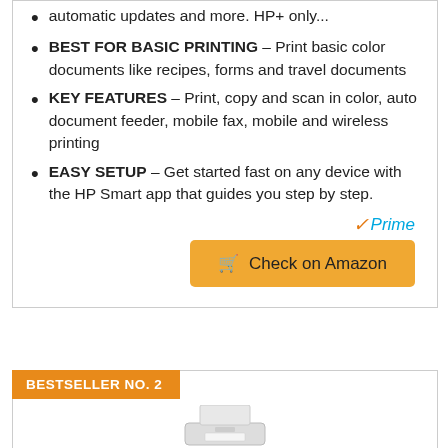automatic updates and more. HP+ only...
BEST FOR BASIC PRINTING – Print basic color documents like recipes, forms and travel documents
KEY FEATURES – Print, copy and scan in color, auto document feeder, mobile fax, mobile and wireless printing
EASY SETUP – Get started fast on any device with the HP Smart app that guides you step by step.
[Figure (logo): Amazon Prime logo with orange checkmark and blue italic 'Prime' text]
[Figure (other): Orange 'Check on Amazon' button with cart icon]
BESTSELLER NO. 2
[Figure (photo): Partial photo of a white printer at the bottom of the page]